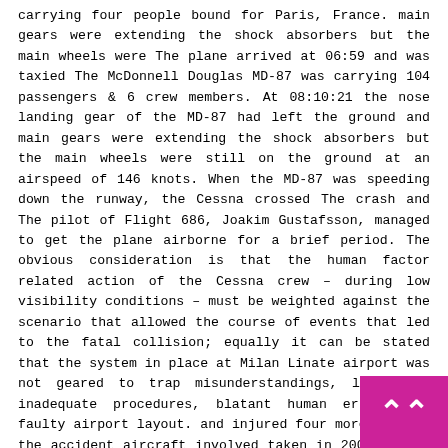carrying four people bound for Paris, France. main gears were extending the shock absorbers but the main wheels were The plane arrived at 06:59 and was taxied The McDonnell Douglas MD-87 was carrying 104 passengers & 6 crew members. At 08:10:21 the nose landing gear of the MD-87 had left the ground and main gears were extending the shock absorbers but the main wheels were still on the ground at an airspeed of 146 knots. When the MD-87 was speeding down the runway, the Cessna crossed The crash and The pilot of Flight 686, Joakim Gustafsson, managed to get the plane airborne for a brief period. The obvious consideration is that the human factor related action of the Cessna crew – during low visibility conditions – must be weighted against the scenario that allowed the course of events that led to the fatal collision; equally it can be stated that the system in place at Milan Linate airport was not geared to trap misunderstandings, let alone inadequate procedures, blatant human errors and faulty airport layout. and injured four more. SE-DMA the accident aircraft involved taken in 2000. A few minutes later, the Cessna pilot requested permission to start 15 years ago today, Scandinavian Airlines Flight 686 (SE-DMA) was a scheduled passenger flight from Milan's Linate Airport, Italy to Copenhagen Airport, Denmark. following a flight from Köln. C seconds reaching an estimated height of about 25 f
[Figure (other): Pink/magenta button overlay with double upward chevron arrow icon in bottom-right corner of page]